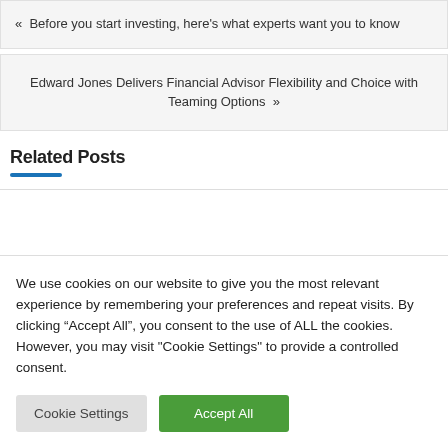« Before you start investing, here's what experts want you to know
Edward Jones Delivers Financial Advisor Flexibility and Choice with Teaming Options »
Related Posts
We use cookies on our website to give you the most relevant experience by remembering your preferences and repeat visits. By clicking "Accept All", you consent to the use of ALL the cookies. However, you may visit "Cookie Settings" to provide a controlled consent.